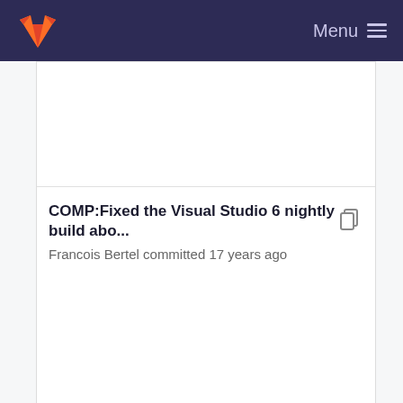Menu
COMP:Fixed the Visual Studio 6 nightly build abo...
Francois Bertel committed 17 years ago
ENH: Change XDMF reader to produce full trees, ...
Dave Demarle committed 14 years ago